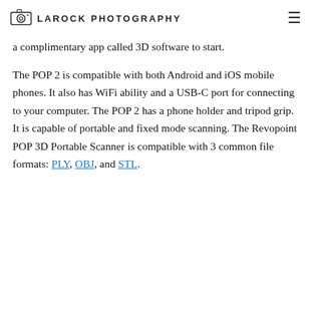LAROCK PHOTOGRAPHY
a complimentary app called 3D software to start.
The POP 2 is compatible with both Android and iOS mobile phones. It also has WiFi ability and a USB-C port for connecting to your computer. The POP 2 has a phone holder and tripod grip. It is capable of portable and fixed mode scanning. The Revopoint POP 3D Portable Scanner is compatible with 3 common file formats: PLY, OBJ, and STL.